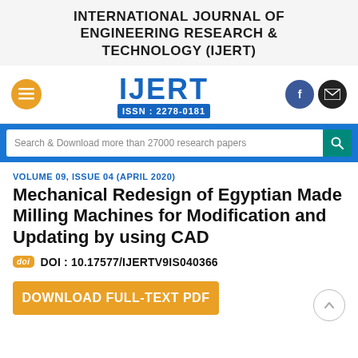INTERNATIONAL JOURNAL OF ENGINEERING RESEARCH & TECHNOLOGY (IJERT)
[Figure (logo): IJERT logo with ISSN: 2278-0181, hamburger menu button (orange circle), Facebook icon (blue circle), email icon (black circle)]
Search & Download more than 27000 research papers
VOLUME 09, ISSUE 04 (APRIL 2020)
Mechanical Redesign of Egyptian Made Milling Machines for Modification and Updating by using CAD
DOI : 10.17577/IJERTV9IS040366
DOWNLOAD FULL-TEXT PDF